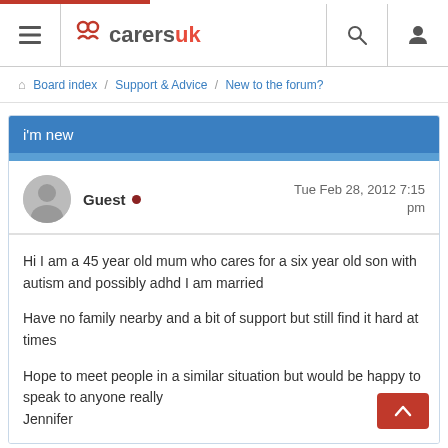carersuk — hamburger menu, search, user icons
Board index / Support & Advice / New to the forum?
i'm new
Guest • Tue Feb 28, 2012 7:15 pm
Hi I am a 45 year old mum who cares for a six year old son with autism and possibly adhd I am married

Have no family nearby and a bit of support but still find it hard at times

Hope to meet people in a similar situation but would be happy to speak to anyone really
Jennifer